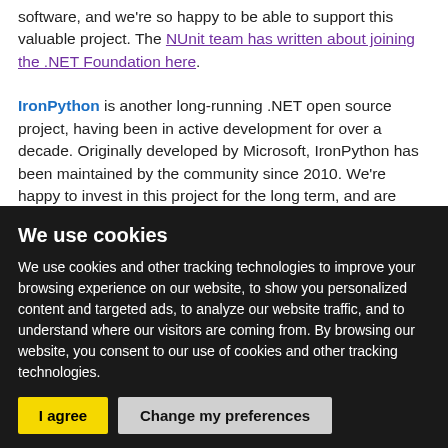software, and we're so happy to be able to support this valuable project. The NUnit team has written about joining the .NET Foundation here.
IronPython is another long-running .NET open source project, having been in active development for over a decade. Originally developed by Microsoft, IronPython has been maintained by the community since 2010. We're happy to invest in this project for the long term, and are excited to be working with the awesome Alex Earl, who's been leading development efforts for IronPython and the DLR for the past year. Here's the IronPython team's post about joining the .NET
We use cookies
We use cookies and other tracking technologies to improve your browsing experience on our website, to show you personalized content and targeted ads, to analyze our website traffic, and to understand where our visitors are coming from. By browsing our website, you consent to our use of cookies and other tracking technologies.
I agree | Change my preferences